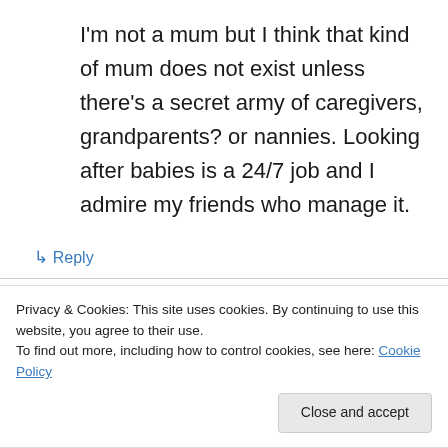I'm not a mum but I think that kind of mum does not exist unless there's a secret army of caregivers, grandparents? or nannies. Looking after babies is a 24/7 job and I admire my friends who manage it.
↳ Reply
freshairboutique on July 20, 2010 at 7:27 pm
keep your head up friend it's bound to get better.
Privacy & Cookies: This site uses cookies. By continuing to use this website, you agree to their use.
To find out more, including how to control cookies, see here: Cookie Policy
Close and accept